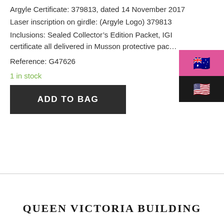Argyle Certificate: 379813, dated 14 November 2017
Laser inscription on girdle: (Argyle Logo) 379813
Inclusions: Sealed Collector’s Edition Packet, IGI certificate all delivered in Musson protective pac…
Reference: G47626
1 in stock
ADD TO BAG
QUEEN VICTORIA BUILDING